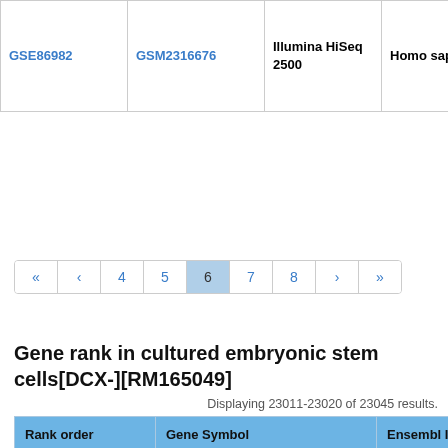|  |  | Illumina HiSeq 2500 | Homo sapiens | 26Dn1_F05seq |
| --- | --- | --- | --- | --- |
| GSE86982 | GSM2316676 | Illumina HiSeq 2500 | Homo sapiens | 26Dn1_F05seq |
« ‹ 4 5 6 7 8 › »
Gene rank in cultured embryonic stem cells[DCX-][RM165049]
Displaying 23011-23020 of 23045 results.
| Rank order | Gene Symbol | Ensembl ID |
| --- | --- | --- |
| 23011 | cx_tRNA-Cys-TGY |  |
| 23012 | cx_tRNA-Gln-CAG |  |
| 23013 | cx_tRNA-Glu-GAA |  |
| 23014 | cx_tRNA-Glu-GAG |  |